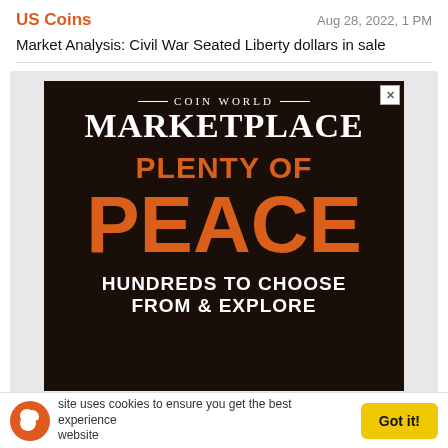US Coins | Aug 28, 2022, 1 PM
Market Analysis: Civil War Seated Liberty dollars in sale
[Figure (advertisement): Coin World Marketplace advertisement with text 'PLENTY OF PEACE - HUNDREDS TO CHOOSE FROM & EXPLORE' on a dark wood background]
This site uses cookies to ensure you get the best experience on our website